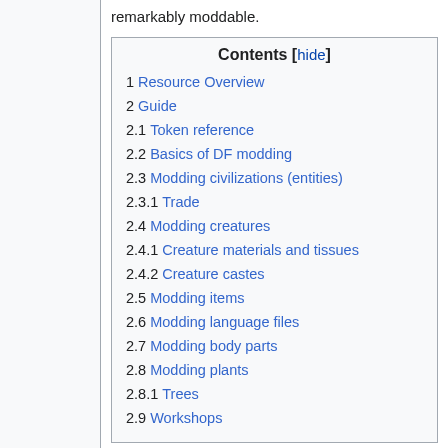remarkably moddable.
| Contents |
| --- |
| 1 Resource Overview |
| 2 Guide |
| 2.1 Token reference |
| 2.2 Basics of DF modding |
| 2.3 Modding civilizations (entities) |
| 2.3.1 Trade |
| 2.4 Modding creatures |
| 2.4.1 Creature materials and tissues |
| 2.4.2 Creature castes |
| 2.5 Modding items |
| 2.6 Modding language files |
| 2.7 Modding body parts |
| 2.8 Modding plants |
| 2.8.1 Trees |
| 2.9 Workshops |